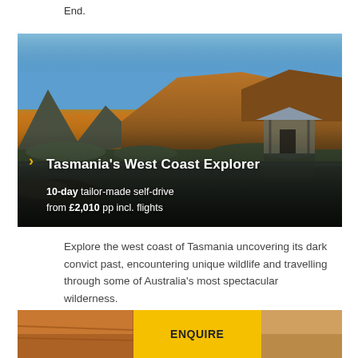End.
[Figure (photo): Landscape photo showing Tasmania's west coast wilderness: blue sky, orange-lit mountains, a wooden boathouse reflected in still water. Overlaid text: Tasmania's West Coast Explorer, 10-day tailor-made self-drive from £2,010 pp incl. flights]
Explore the west coast of Tasmania uncovering its dark convict past, encountering unique wildlife and travelling through some of Australia's most spectacular wilderness.
[Figure (photo): Bottom strip with landscape photo on left, yellow ENQUIRE button in centre, landscape photo on right]